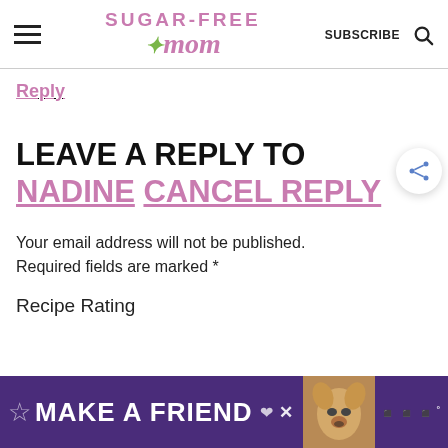Sugar-Free Mom
Reply
LEAVE A REPLY TO NADINE CANCEL REPLY
Your email address will not be published. Required fields are marked *
Recipe Rating
[Figure (infographic): Advertisement banner: purple background with text MAKE A FRIEND, dog photo, close and mute buttons]